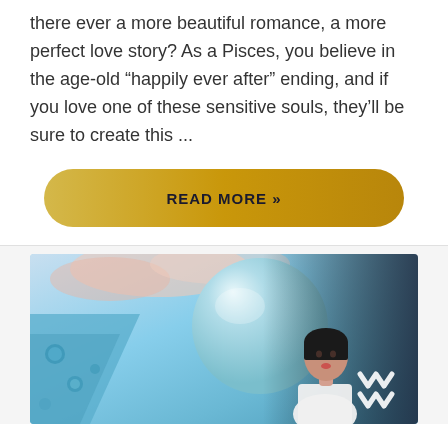there ever a more beautiful romance, a more perfect love story? As a Pisces, you believe in the age-old “happily ever after” ending, and if you love one of these sensitive souls, they’ll be sure to create this ...
[Figure (other): Golden gradient pill-shaped button with text READ MORE »]
[Figure (photo): A composited astrology image showing a woman with short black hair wearing a white top, in front of a large light-blue sphere (planet), with blue water droplets, cloudy sky, and Aquarius zodiac symbol in white on the right side.]